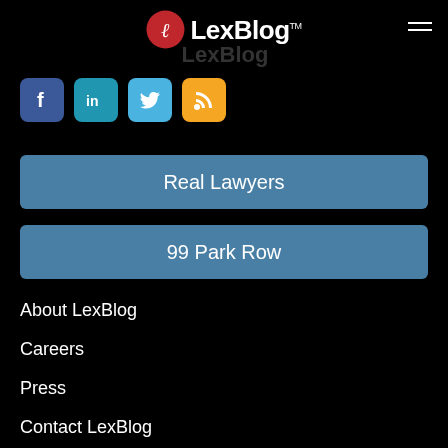LexBlog
[Figure (logo): LexBlog logo with red circle L icon and LexBlog text with TM mark, plus hamburger menu icon]
[Figure (infographic): Social media icons: Facebook (blue), LinkedIn (teal), Twitter (light blue), RSS (orange)]
Real Lawyers
99 Park Row
About LexBlog
Careers
Press
Contact LexBlog
Privacy Policy
Editorial Policy
Disclaimer